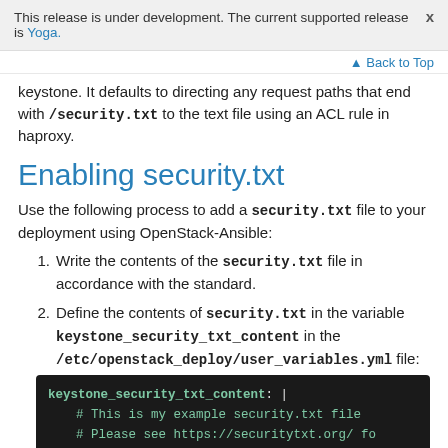This release is under development. The current supported release is Yoga.
Back to Top
keystone. It defaults to directing any request paths that end with /security.txt to the text file using an ACL rule in haproxy.
Enabling security.txt
Use the following process to add a security.txt file to your deployment using OpenStack-Ansible:
1. Write the contents of the security.txt file in accordance with the standard.
2. Define the contents of security.txt in the variable keystone_security_txt_content in the /etc/openstack_deploy/user_variables.yml file:
[Figure (screenshot): Code block showing YAML snippet: keystone_security_txt_content: | # This is my example security.txt file # Please see https://securitytxt.org/ fo...]